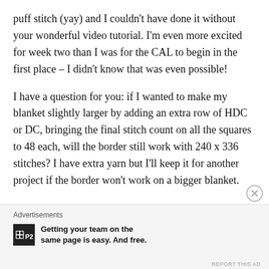puff stitch (yay) and I couldn't have done it without your wonderful video tutorial. I'm even more excited for week two than I was for the CAL to begin in the first place – I didn't know that was even possible!
I have a question for you: if I wanted to make my blanket slightly larger by adding an extra row of HDC or DC, bringing the final stitch count on all the squares to 48 each, will the border still work with 240 x 336 stitches? I have extra yarn but I'll keep it for another project if the border won't work on a bigger blanket.
Advertisements
Getting your team on the same page is easy. And free.